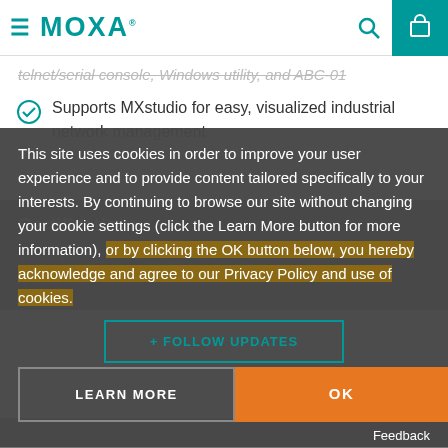MOXA
telnet/serial console, Windows utility, and ABC-01
Supports MXstudio for easy, visualized industrial network management
Certifications
[Figure (other): Certification logos including UL, CE, FCC and other marks on grey background]
This site uses cookies in order to improve your user experience and to provide content tailored specifically to your interests. By continuing to browse our site without changing your cookie settings (click the Learn More button for more information), or by clicking the OK button below, you hereby acknowledge and agree to our Privacy Policy and use of cookies.
FOLLOW UPDATES
LEARN MORE
OK
Feedback